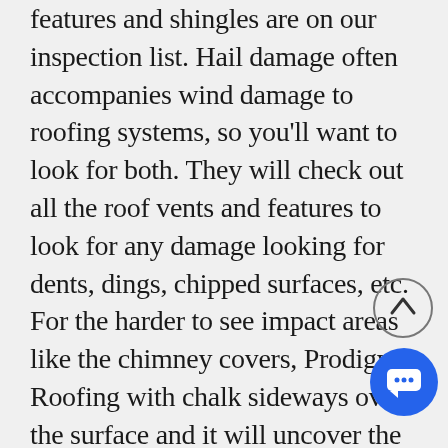features and shingles are on our inspection list. Hail damage often accompanies wind damage to roofing systems, so you'll want to look for both. They will check out all the roof vents and features to look for any damage looking for dents, dings, chipped surfaces, etc. For the harder to see impact areas like the chimney covers, Prodigy Roofing with chalk sideways over the surface and it will uncover the hail impact points. For the softer metal vents, the damage will be much more obvious. The last, but most important thing to check is the shingles. Hail damage to roof shingles are what buys the roof. You'll never get a solid insurance claim without shingle damage.